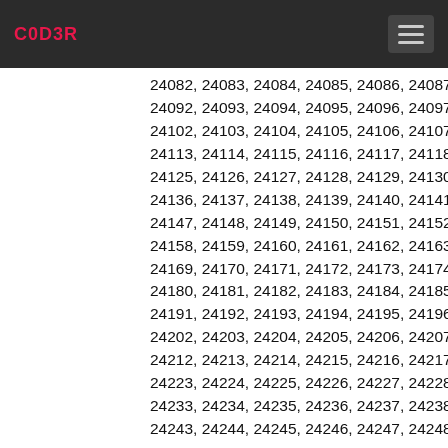C0D3R
24082, 24083, 24084, 24085, 24086, 24087, 2... 24092, 24093, 24094, 24095, 24096, 24097, 24... 24102, 24103, 24104, 24105, 24106, 24107, 2410... 24113, 24114, 24115, 24116, 24117, 24118, 24119, 247... 24125, 24126, 24127, 24128, 24129, 24130, 24131, ... 24136, 24137, 24138, 24139, 24140, 24141, 24142, ... 24147, 24148, 24149, 24150, 24151, 24152, 24153, ... 24158, 24159, 24160, 24161, 24162, 24163, 24164, ... 24169, 24170, 24171, 24172, 24173, 24174, 24175, ... 24180, 24181, 24182, 24183, 24184, 24185, 24186... 24191, 24192, 24193, 24194, 24195, 24196, 24197, ... 24202, 24203, 24204, 24205, 24206, 24207, 24... 24212, 24213, 24214, 24215, 24216, 24217, 24218, ... 24223, 24224, 24225, 24226, 24227, 24228, 242... 24233, 24234, 24235, 24236, 24237, 24238, 242... 24243, 24244, 24245, 24246, 24247, 24248, 247...